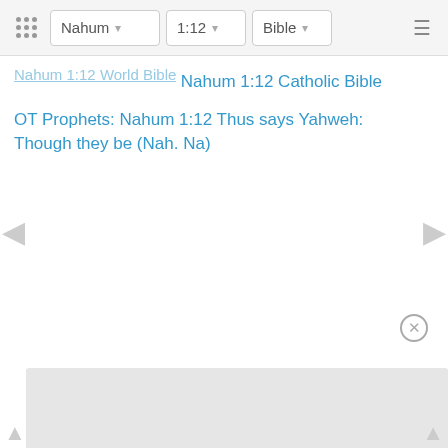Nahum | 1:12 | Bible
Nahum 1:12 World Bible
Nahum 1:12 Catholic Bible
OT Prophets: Nahum 1:12 Thus says Yahweh: Though they be (Nah. Na)